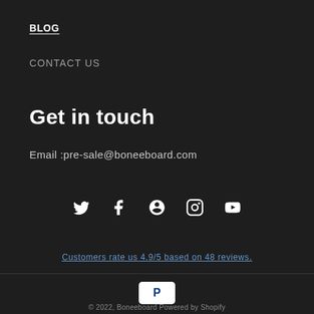BLOG
CONTACT US
Get in touch
Email :pre-sale@boneeboard.com
[Figure (infographic): Social media icons: Twitter, Facebook, Pinterest, Instagram, YouTube]
Customers rate us 4.9/5 based on 48 reviews.
[Figure (logo): PayPal payment icon]
© 2022, Boneeboard Powered by Shopify